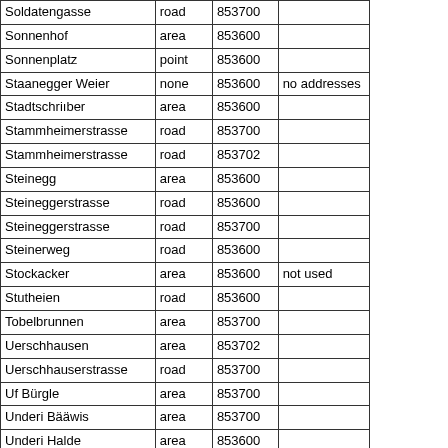| Soldatengasse | road | 853700 |  |
| Sonnenhof | area | 853600 |  |
| Sonnenplatz | point | 853600 |  |
| Staanegger Weier | none | 853600 | no addresses |
| Stadtschriıber | area | 853600 |  |
| Stammheimerstrasse | road | 853700 |  |
| Stammheimerstrasse | road | 853702 |  |
| Steinegg | area | 853600 |  |
| Steineggerstrasse | road | 853600 |  |
| Steineggerstrasse | road | 853700 |  |
| Steinerweg | road | 853600 |  |
| Stockacker | area | 853600 | not used |
| Stutheien | road | 853600 |  |
| Tobelbrunnen | area | 853700 |  |
| Uerschhausen | area | 853702 |  |
| Uerschhauserstrasse | road | 853700 |  |
| Uf Bürgle | area | 853700 |  |
| Underi Bääwis | area | 853700 |  |
| Underi Halde | area | 853600 |  |
| Unteres Steimürli | road | 853600 |  |
| Vorderi Au | area | 853600 |  |
| Weinbergstrasse | road | 853700 |  |
| Zehntenstrasse | road | 853600 |  |
| Zimmerweg | road | 853600 |  |
| Zum Steimürli | point | 853600 |  |
| Zum Weinberg | area | 853700 |  |